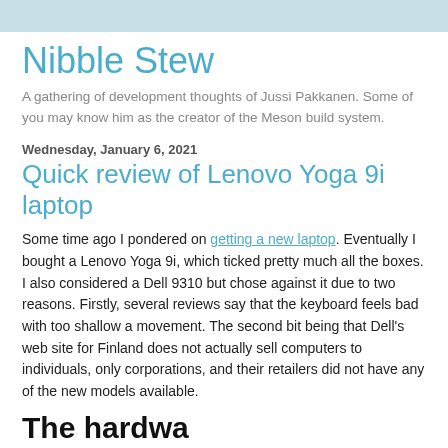Nibble Stew
A gathering of development thoughts of Jussi Pakkanen. Some of you may know him as the creator of the Meson build system.
Wednesday, January 6, 2021
Quick review of Lenovo Yoga 9i laptop
Some time ago I pondered on getting a new laptop. Eventually I bought a Lenovo Yoga 9i, which ticked pretty much all the boxes. I also considered a Dell 9310 but chose against it due to two reasons. Firstly, several reviews say that the keyboard feels bad with too shallow a movement. The second bit being that Dell's web site for Finland does not actually sell computers to individuals, only corporations, and their retailers did not have any of the new models available.
The hardware